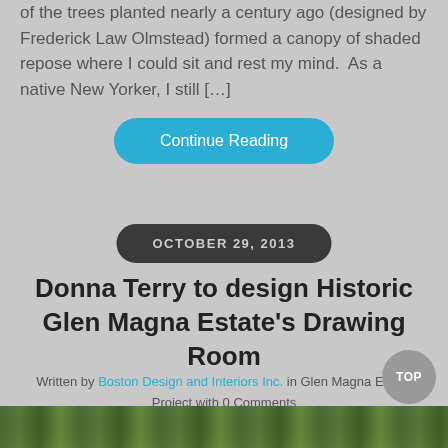of the trees planted nearly a century ago (designed by Frederick Law Olmstead) formed a canopy of shaded repose where I could sit and rest my mind. As a native New Yorker, I still […]
Continue Reading
OCTOBER 29, 2013
Donna Terry to design Historic Glen Magna Estate's Drawing Room
Written by Boston Design and Interiors Inc. in Glen Magna Estate Project with 0 Comments
[Figure (photo): Bottom strip showing treetops/foliage, partial screenshot of a nature photo]